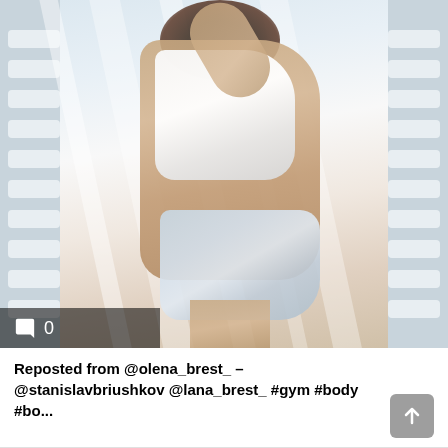[Figure (photo): A fit woman in a white crop top and denim shorts poses sideways against window shutters with light streaming through, showing her toned midsection. A comment icon with '0' is overlaid at the bottom left of the photo.]
Reposted from @olena_brest_ – @stanislavbriushkov @lana_brest_ #gym #body #bo...